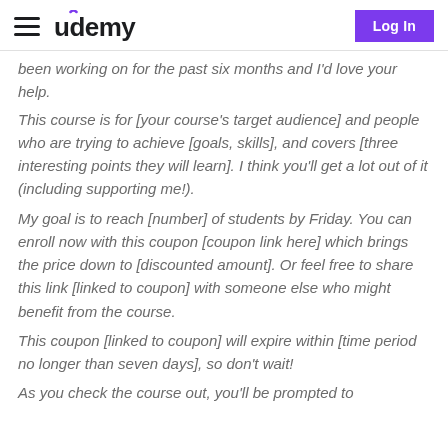udemy — Log In
been working on for the past six months and I'd love your help.
This course is for [your course's target audience] and people who are trying to achieve [goals, skills], and covers [three interesting points they will learn]. I think you'll get a lot out of it (including supporting me!).
My goal is to reach [number] of students by Friday. You can enroll now with this coupon [coupon link here] which brings the price down to [discounted amount]. Or feel free to share this link [linked to coupon] with someone else who might benefit from the course.
This coupon [linked to coupon] will expire within [time period no longer than seven days], so don't wait!
As you check the course out, you'll be prompted to